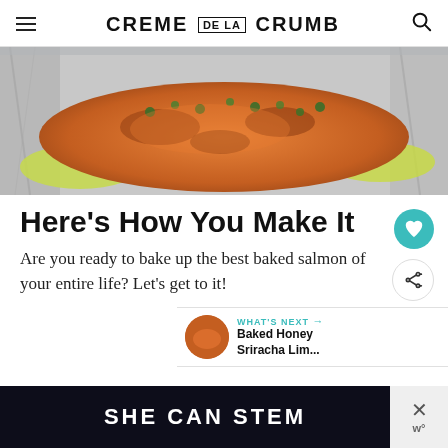CREME DE LA CRUMB
[Figure (photo): Close-up photo of baked salmon with herbs on foil]
Here’s How You Make It
Are you ready to bake up the best baked salmon of your entire life? Let’s get to it!
WHAT’S NEXT → Baked Honey Sriracha Lim...
SHE CAN STEM